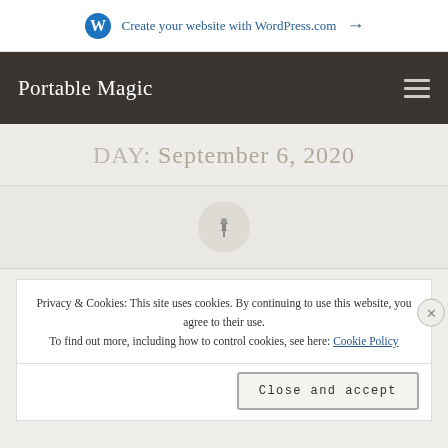Create your website with WordPress.com →
Portable Magic
DAY: September 6, 2020
[Figure (illustration): Pushpin icon inside a light gray circle]
Privacy & Cookies: This site uses cookies. By continuing to use this website, you agree to their use. To find out more, including how to control cookies, see here: Cookie Policy
Close and accept